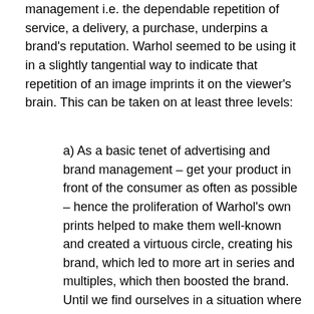management i.e. the dependable repetition of service, a delivery, a purchase, underpins a brand's reputation. Warhol seemed to be using it in a slightly tangential way to indicate that repetition of an image imprints it on the viewer's brain. This can be taken on at least three levels:
a) As a basic tenet of advertising and brand management – get your product in front of the consumer as often as possible – hence the proliferation of Warhol's own prints helped to make them well-known and created a virtuous circle, creating his brand, which led to more art in series and multiples, which then boosted the brand. Until we find ourselves in a situation where works by Warhol are now among the most expensive in art history so that Eight Elvises recently sold for $100 million and Car Crash for $105 million.